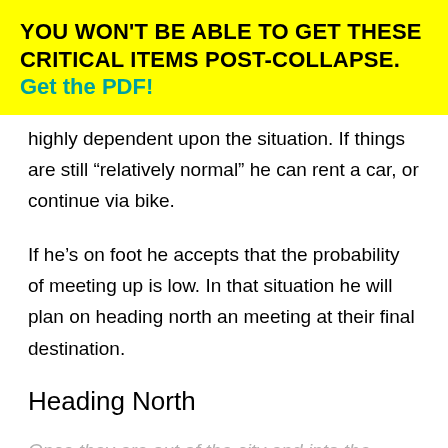YOU WON'T BE ABLE TO GET THESE CRITICAL ITEMS POST-COLLAPSE. Get the PDF!
highly dependent upon the situation. If things are still “relatively normal” he can rent a car, or continue via bike.
If he’s on foot he accepts that the probability of meeting up is low. In that situation he will plan on heading north an meeting at their final destination.
Heading North
Once they are out of the city and into the suburbs they head north. The primary vehicle